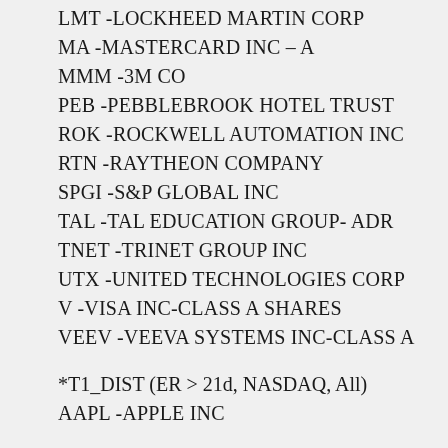LMT -LOCKHEED MARTIN CORP
MA -MASTERCARD INC – A
MMM -3M CO
PEB -PEBBLEBROOK HOTEL TRUST
ROK -ROCKWELL AUTOMATION INC
RTN -RAYTHEON COMPANY
SPGI -S&P GLOBAL INC
TAL -TAL EDUCATION GROUP- ADR
TNET -TRINET GROUP INC
UTX -UNITED TECHNOLOGIES CORP
V -VISA INC-CLASS A SHARES
VEEV -VEEVA SYSTEMS INC-CLASS A
*T1_DIST (ER > 21d, NASDAQ, All)
AAPL -APPLE INC